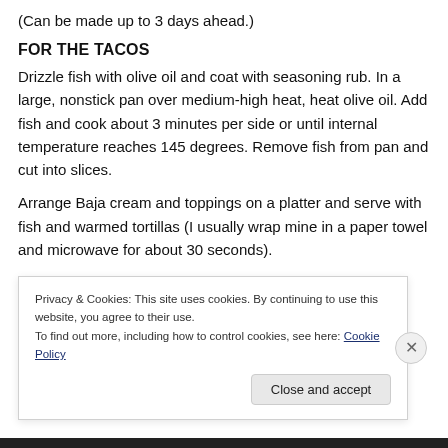(Can be made up to 3 days ahead.)
FOR THE TACOS
Drizzle fish with olive oil and coat with seasoning rub. In a large, nonstick pan over medium-high heat, heat olive oil. Add fish and cook about 3 minutes per side or until internal temperature reaches 145 degrees. Remove fish from pan and cut into slices.
Arrange Baja cream and toppings on a platter and serve with fish and warmed tortillas (I usually wrap mine in a paper towel and microwave for about 30 seconds).
Privacy & Cookies: This site uses cookies. By continuing to use this website, you agree to their use.
To find out more, including how to control cookies, see here: Cookie Policy